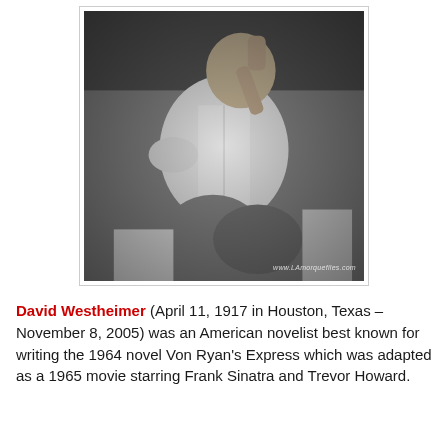[Figure (photo): Black and white photograph of David Westheimer, a man in a light-colored button-up shirt seated in a relaxed pose with one hand raised near his head. Watermark reads www.LAmorquefiles.com.]
David Westheimer (April 11, 1917 in Houston, Texas – November 8, 2005) was an American novelist best known for writing the 1964 novel Von Ryan's Express which was adapted as a 1965 movie starring Frank Sinatra and Trevor Howard.